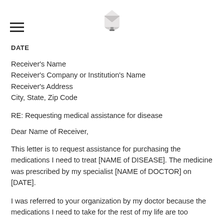≡  [logo icon]
DATE
Receiver's Name
Receiver's Company or Institution's Name
Receiver's Address
City, State, Zip Code
RE: Requesting medical assistance for disease
Dear Name of Receiver,
This letter is to request assistance for purchasing the medications I need to treat [NAME of DISEASE]. The medicine was prescribed by my specialist [NAME of DOCTOR] on [DATE].
I was referred to your organization by my doctor because the medications I need to take for the rest of my life are too